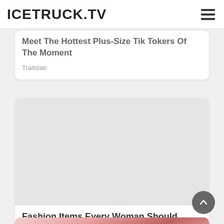ICETRUCK.TV
Meet The Hottest Plus-Size Tik Tokers Of The Moment
Traitslab
[Figure (photo): Empty light grey image placeholder for article about Fashion Items Every Woman Should Have: Plus Size Wardrobe Staples]
Fashion Items Every Woman Should Have: Plus Size Wardrobe Staples
Herbeauty
[Figure (photo): Partially visible image at bottom showing pink/red fabric or clothing item]